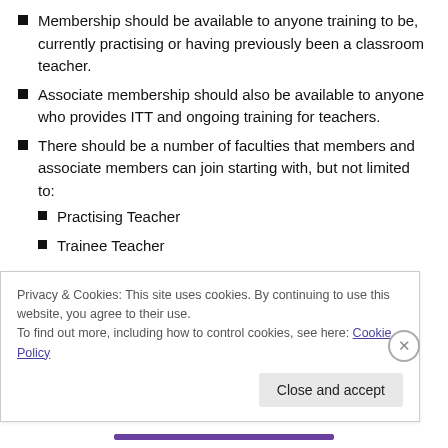Membership should be available to anyone training to be, currently practising or having previously been a classroom teacher.
Associate membership should also be available to anyone who provides ITT and ongoing training for teachers.
There should be a number of faculties that members and associate members can join starting with, but not limited to:
Practising Teacher
Trainee Teacher
Privacy & Cookies: This site uses cookies. By continuing to use this website, you agree to their use.
To find out more, including how to control cookies, see here: Cookie Policy